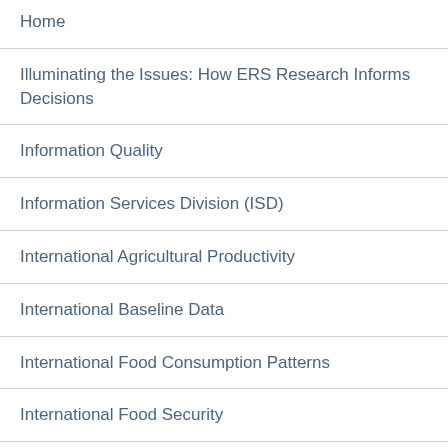Home
Illuminating the Issues: How ERS Research Informs Decisions
Information Quality
Information Services Division (ISD)
International Agricultural Productivity
International Baseline Data
International Food Consumption Patterns
International Food Security
International Macroeconomic Data Set